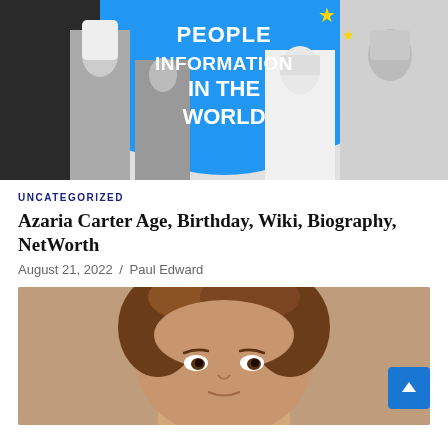[Figure (photo): Banner image with blue background showing text 'PEOPLE INFORMATION IN THE WORLD' with yellow stars and multiple people in black and white on sides]
UNCATEGORIZED
Azaria Carter Age, Birthday, Wiki, Biography, NetWorth
August 21, 2022 / Paul Edward
[Figure (photo): Close-up photo of a child with brown curly hair and brown eyes]